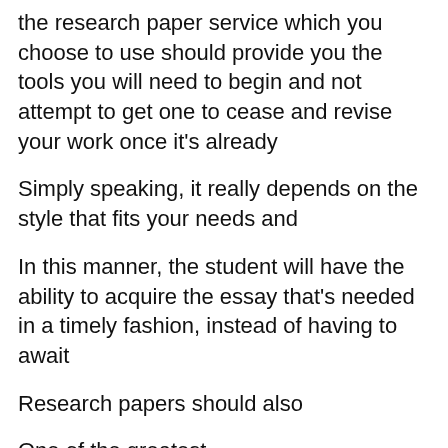the research paper service which you choose to use should provide you the tools you will need to begin and not attempt to get one to cease and revise your work once it's already
Simply speaking, it really depends on the style that fits your needs and
In this manner, the student will have the ability to acquire the essay that's needed in a timely fashion, instead of having to await
Research papers should also
One of the greatest
Ask
The article topics are endless, and if you want to stand out from the rest, you need